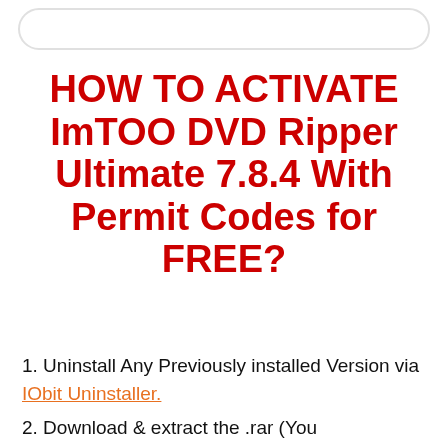HOW TO ACTIVATE ImTOO DVD Ripper Ultimate 7.8.4 With Permit Codes for FREE?
1. Uninstall Any Previously installed Version via IObit Uninstaller.
2. Download & extract the .rar (You